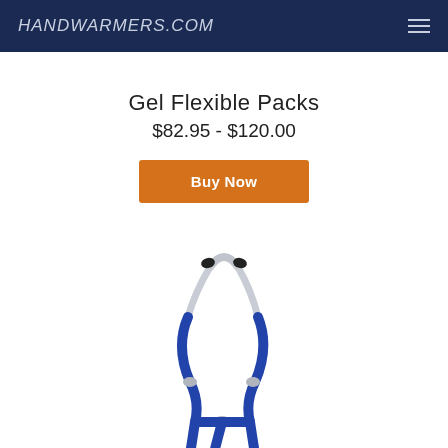HANDWARMERS.COM
Gel Flexible Packs
$82.95 - $120.00
Buy Now
[Figure (photo): A blue stethoscope with silver metal headset and black ear tips, shown from above on a white background. The blue tubing splits into a Y-shape at the bottom of the frame.]